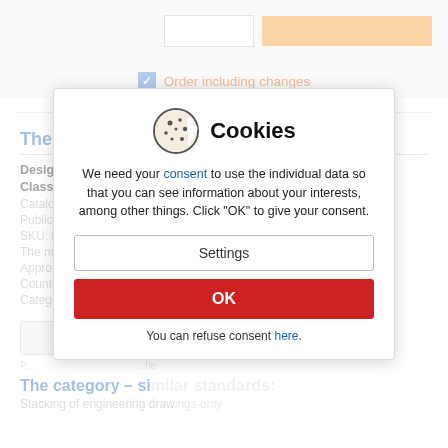[Figure (screenshot): Top bar with input box, orange button, and 'Order including changes' checkbox]
The information about the standard:
Designation standards: ČSN ISO 2203
Classification mark: 013215
Catalog number: 46783
Publication date standards: 1.12.1994
SKU: NS-178396
The number of pages: 12
Approximate weight: 36.000 (in list)
Country: Czech Republic (download)
Category: Technical Standards
The category – similar standards:
Stacking of engineering drawings only
[Figure (screenshot): Cookies consent modal dialog with cookie icon, title 'Cookies', body text, Settings button, OK button, and refuse link]
We need your consent to use the individual data so that you can see information about your interests, among other things. Click "OK" to give your consent.
Settings
OK
You can refuse consent here.